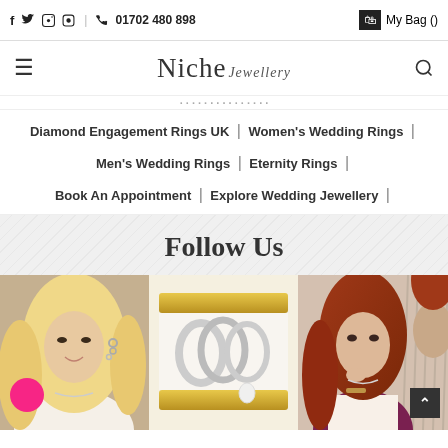f  twitter  pinterest  instagram  |  phone  01702 480 898  |  My Bag ()
[Figure (logo): Niche Jewellery logo with hamburger menu and search icon]
Diamond Engagement Rings UK | Women's Wedding Rings | Men's Wedding Rings | Eternity Rings | Book An Appointment | Explore Wedding Jewellery |
Follow Us
[Figure (photo): Three Instagram-style photos: blonde woman with ear cuff jewelry, silver rings and pearl earrings on gold display, woman with red hair wearing jewelry]